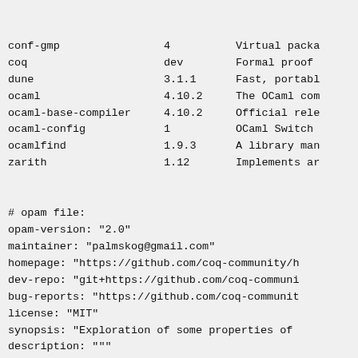| Package | Version | Description |
| --- | --- | --- |
| conf-gmp | 4 | Virtual packa |
| coq | dev | Formal proof |
| dune | 3.1.1 | Fast, portabl |
| ocaml | 4.10.2 | The OCaml com |
| ocaml-base-compiler | 4.10.2 | Official rele |
| ocaml-config | 1 | OCaml Switch |
| ocamlfind | 1.9.3 | A library man |
| zarith | 1.12 | Implements ar |
# opam file:
opam-version: "2.0"
maintainer: "palmskog@gmail.com"
homepage: "https://github.com/coq-community/h
dev-repo: "git+https://github.com/coq-communi
bug-reports: "https://github.com/coq-communit
license: "MIT"
synopsis: "Exploration of some properties of
description: """
An exploration of some properties of Kirby an
with the help of the Coq Proof assistant. Thi
the study of several representations of ordin
of the so-called Ketonen and Solovay machiner